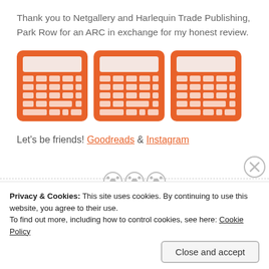Thank you to Netgallery and Harlequin Trade Publishing, Park Row for an ARC in exchange for my honest review.
[Figure (illustration): Three orange calculator icons side by side]
Let's be friends! Goodreads & Instagram
Privacy & Cookies: This site uses cookies. By continuing to use this website, you agree to their use.
To find out more, including how to control cookies, see here: Cookie Policy
Close and accept